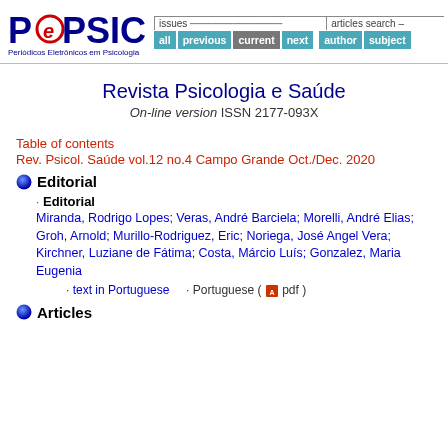[Figure (logo): PePSIC logo with red swirl e and blue text, subtitle Periódicos Eletrônicos em Psicologia]
[Figure (screenshot): Navigation bar with issues (all, previous, current, next) and articles search (author, subject) buttons]
Revista Psicologia e Saúde
On-line version ISSN 2177-093X
Table of contents
Rev. Psicol. Saúde vol.12 no.4 Campo Grande Oct./Dec. 2020
Editorial
Editorial
Miranda, Rodrigo Lopes; Veras, André Barciela; Morelli, André Elias; Groh, Arnold; Murillo-Rodriguez, Eric; Noriega, José Angel Vera; Kirchner, Luziane de Fátima; Costa, Márcio Luís; Gonzalez, Maria Eugenia
· text in Portuguese   · Portuguese ( pdf )
Articles